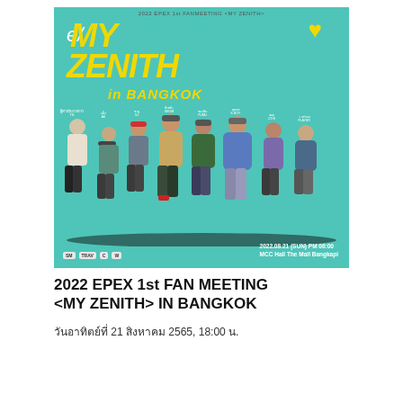[Figure (photo): Event poster for 2022 EPEX 1st Fan Meeting <MY ZENITH> in Bangkok. Teal/mint green background with yellow handwritten-style text reading 'MY ZENITH in BANGKOK'. Eight Korean pop group members standing in casual outfits. Date shown: 2022.08.21 (SUN) PM 06:00, MCC Hall The Mall Bangkapi. Small sponsor logos at bottom left.]
2022 EPEX 1st FAN MEETING <MY ZENITH> IN BANGKOK
วันอาทิตย์ที่ 21 สิงหาคม 2565, 18:00 น.